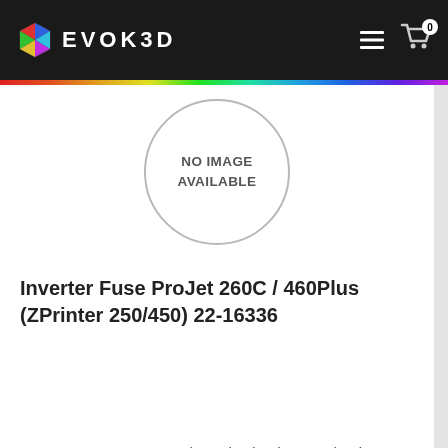EVOK3D
[Figure (illustration): Product placeholder circle with text NO IMAGE AVAILABLE]
Inverter Fuse ProJet 260C / 460Plus (ZPrinter 250/450) 22-16336
Inverter Fuse ProJet 260C / 460Plus (ZPrinter 250/450) 22-16336